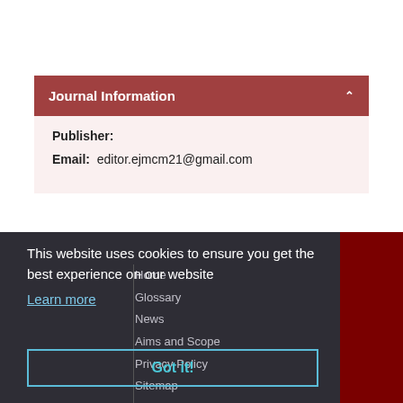Journal Information
Publisher:
Email: editor.ejmcm21@gmail.com
This website uses cookies to ensure you get the best experience on our website
Learn more
Home
Glossary
News
Aims and Scope
Privacy Policy
Sitemap
Got it!